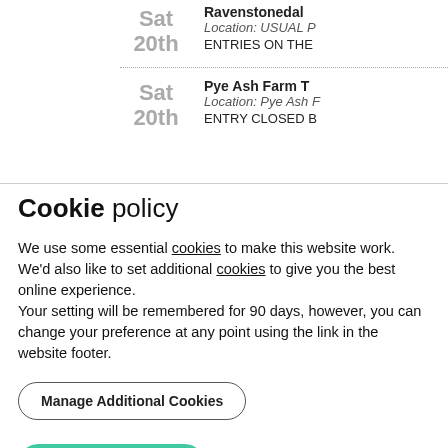Sat 20th  Ravenstonedal...  Location: USUAL P...  ENTRIES ON THE
Sat 20th  Pye Ash Farm T...  Location: Pye Ash F...  ENTRY CLOSED B
Cookie policy
We use some essential cookies to make this website work. We'd also like to set additional cookies to give you the best online experience.
Your setting will be remembered for 90 days, however, you can change your preference at any point using the link in the website footer.
Manage Additional Cookies
Accept All Cookies